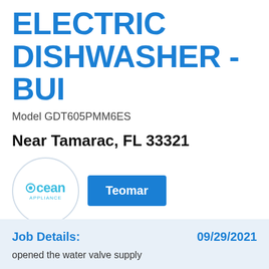ELECTRIC DISHWASHER - BUI
Model GDT605PMM6ES
Near Tamarac, FL 33321
[Figure (logo): Ocean Appliance logo in a circle]
Teomar
Job Details:
09/29/2021
opened the water valve supply